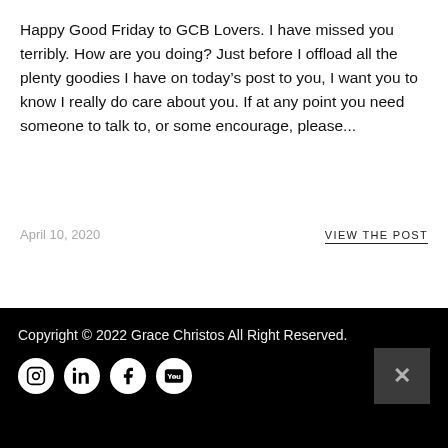Happy Good Friday to GCB Lovers. I have missed you terribly. How are you doing? Just before I offload all the plenty goodies I have on today’s post to you, I want you to know I really do care about you. If at any point you need someone to talk to, or some encourage, please…
April 10, 2020
VIEW THE POST
Load more stories
Copyright © 2022 Grace Christos All Right Reserved.